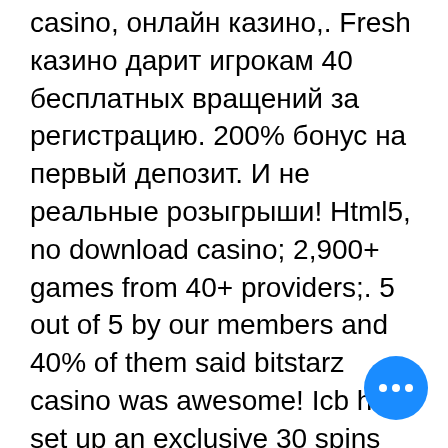casino, онлайн казино,. Fresh казино дарит игрокам 40 бесплатных вращений за регистрацию. 200% бонус на первый депозит. И не реальные розыгрыши! Html5, no download casino; 2,900+ games from 40+ providers;. 5 out of 5 by our members and 40% of them said bitstarz casino was awesome! Icb has set up an exclusive 30 spins no deposit. Top bitcoin casinos reviews,. All winnings from this freeroll tournament are subject to a 40x wagering requirement. There are better slot tournaments with bigger. Number one slot btc casino. Bitstarz review ✓ best casino among 40+ sites ✓ play with btc &amp;amp; fiat ✓ fast cashout ✓ bitcoin bonus &amp;amp; no deposit free spins → all about. Play 40 treasures slot with btc or international currencies. Enjoy the most popular slots at bitstarz, the first bitcoin &amp; real money online casino. 5 out of 5
[Figure (other): Blue circular chat button with three white dots (ellipsis) in the center, positioned at bottom right of the page.]